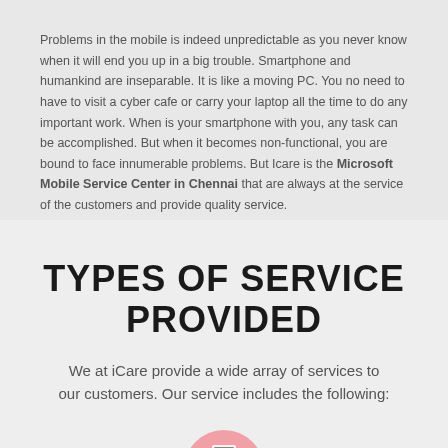Problems in the mobile is indeed unpredictable as you never know when it will end you up in a big trouble. Smartphone and humankind are inseparable. It is like a moving PC. You no need to have to visit a cyber cafe or carry your laptop all the time to do any important work. When is your smartphone with you, any task can be accomplished. But when it becomes non-functional, you are bound to face innumerable problems. But Icare is the Microsoft Mobile Service Center in Chennai that are always at the service of the customers and provide quality service.
TYPES OF SERVICE PROVIDED
We at iCare provide a wide array of services to our customers. Our service includes the following:
[Figure (illustration): A partial pink/rose-colored semicircle with a small icon at the bottom edge, visible at the bottom of the page.]